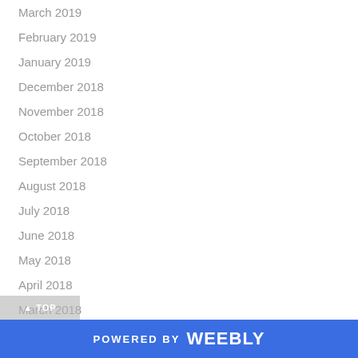March 2019
February 2019
January 2019
December 2018
November 2018
October 2018
September 2018
August 2018
July 2018
June 2018
May 2018
April 2018
March 2018
February 2018
January 2018
December 2017
November 2017
POWERED BY weebly